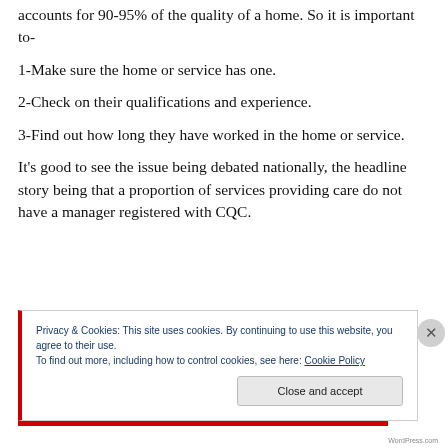accounts for 90-95% of the quality of a home. So it is important to-
1-Make sure the home or service has one.
2-Check on their qualifications and experience.
3-Find out how long they have worked in the home or service.
It’s good to see the issue being debated nationally, the headline story being that a proportion of services providing care do not have a manager registered with CQC.
Privacy & Cookies: This site uses cookies. By continuing to use this website, you agree to their use.
To find out more, including how to control cookies, see here: Cookie Policy
Close and accept